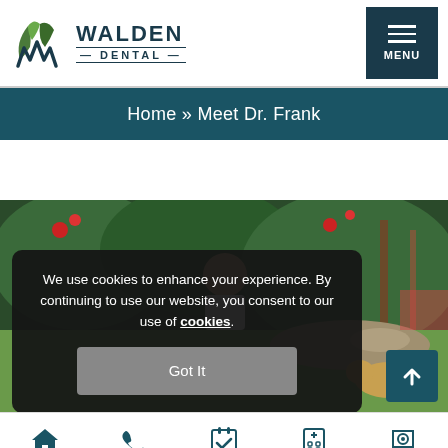Walden Dental — MENU
Home » Meet Dr. Frank
[Figure (photo): Outdoor photo of Dr. Frank smiling in a garden setting with greenery and flowering shrubs, with a dog visible in the lower right. A cookie consent overlay appears on top of the photo.]
We use cookies to enhance your experience. By continuing to use our website, you consent to our use of cookies.
HOME | CALL | APPOINTMENT | TREATMENTS | FIND US